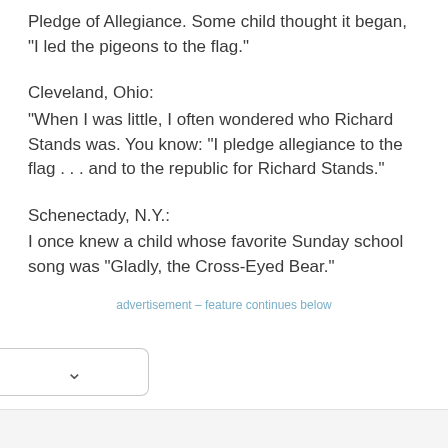Pledge of Allegiance. Some child thought it began, "I led the pigeons to the flag."
Cleveland, Ohio:
"When I was little, I often wondered who Richard Stands was. You know: "I pledge allegiance to the flag . . . and to the republic for Richard Stands."
Schenectady, N.Y.:
I once knew a child whose favorite Sunday school song was "Gladly, the Cross-Eyed Bear."
advertisement – feature continues below